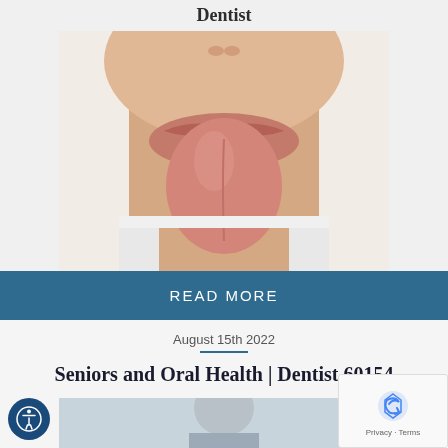Dentist
[Figure (photo): Close-up photo of a person sticking out their tongue, wearing a white top, on a white background]
READ MORE
August 15th 2022
Seniors and Oral Health | Dentist 60154
[Figure (photo): Photo of a senior person, partially visible at the bottom of the page]